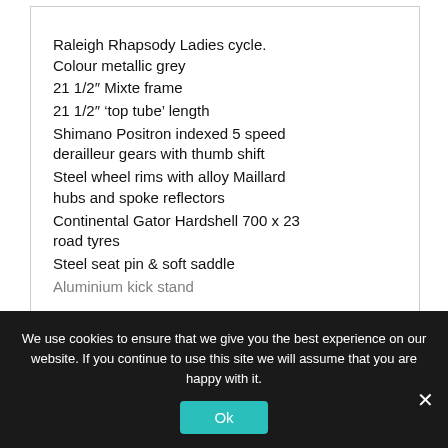Raleigh Rhapsody Ladies cycle. Colour metallic grey
21 1/2″ Mixte frame
21 1/2″ 'top tube' length
Shimano Positron indexed 5 speed derailleur gears with thumb shift
Steel wheel rims with alloy Maillard hubs and spoke reflectors
Continental Gator Hardshell 700 x 23 road tyres
Steel seat pin & soft saddle
Aluminium kick stand
We use cookies to ensure that we give you the best experience on our website. If you continue to use this site we will assume that you are happy with it.